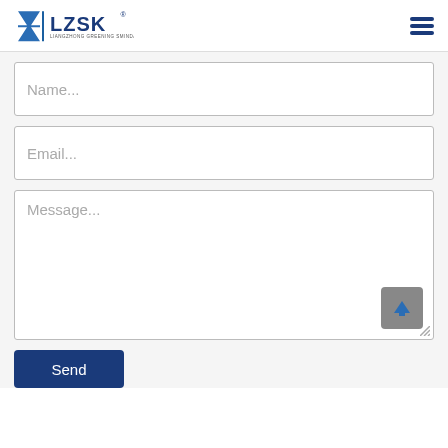[Figure (logo): LZSK logo with blue geometric mark and text 'LZSK' with registered trademark symbol and subtitle text]
[Figure (other): Hamburger menu icon (three horizontal blue bars)]
Name...
Email...
Message...
Send